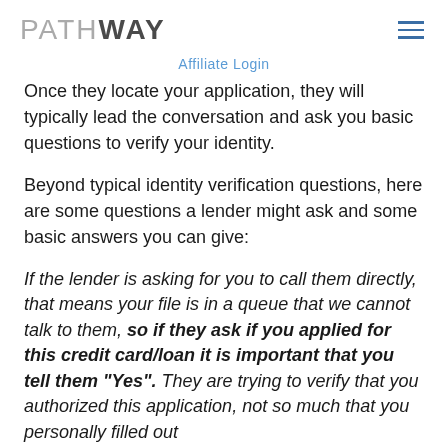PATHWAY (logo) | Affiliate Login
Once they locate your application, they will typically lead the conversation and ask you basic questions to verify your identity.
Beyond typical identity verification questions, here are some questions a lender might ask and some basic answers you can give:
If the lender is asking for you to call them directly, that means your file is in a queue that we cannot talk to them, so if they ask if you applied for this credit card/loan it is important that you tell them "Yes". They are trying to verify that you authorized this application, not so much that you personally filled out